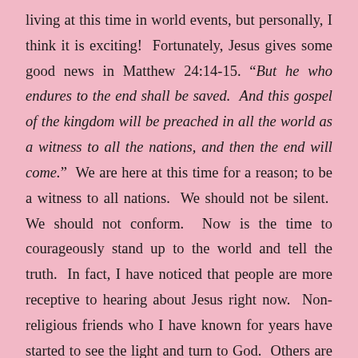living at this time in world events, but personally, I think it is exciting!  Fortunately, Jesus gives some good news in Matthew 24:14-15. “But he who endures to the end shall be saved.  And this gospel of the kingdom will be preached in all the world as a witness to all the nations, and then the end will come.”  We are here at this time for a reason; to be a witness to all nations.  We should not be silent.  We should not conform.  Now is the time to courageously stand up to the world and tell the truth.  In fact, I have noticed that people are more receptive to hearing about Jesus right now.  Non-religious friends who I have known for years have started to see the light and turn to God.  Others are asking questions.  Through the events of the last few years, wise people are realizing that something is off